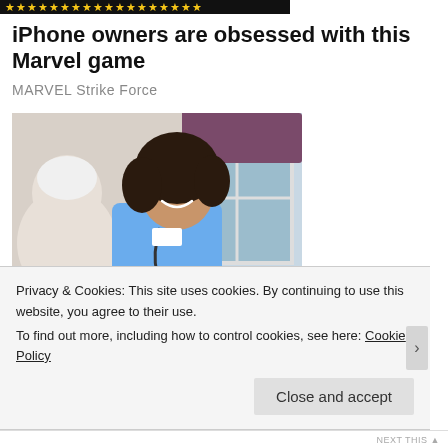[Figure (illustration): Advertisement banner with gold star ratings on dark background]
iPhone owners are obsessed with this Marvel game
MARVEL Strike Force
[Figure (photo): A smiling female nurse in blue scrubs with stethoscope talking to an elderly patient. Text overlay at bottom reads: kare Registered Nurse]
Privacy & Cookies: This site uses cookies. By continuing to use this website, you agree to their use.
To find out more, including how to control cookies, see here: Cookie Policy
Close and accept